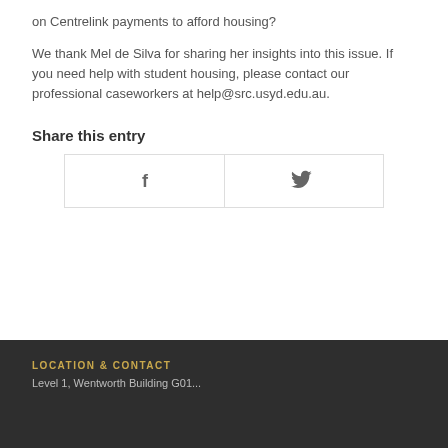on Centrelink payments to afford housing?
We thank Mel de Silva for sharing her insights into this issue. If you need help with student housing, please contact our professional caseworkers at help@src.usyd.edu.au.
Share this entry
[Figure (other): Two share buttons side by side: Facebook (f icon) and Twitter (bird icon), each in a bordered box]
LOCATION & CONTACT
Level 1, Wentworth Building G01...